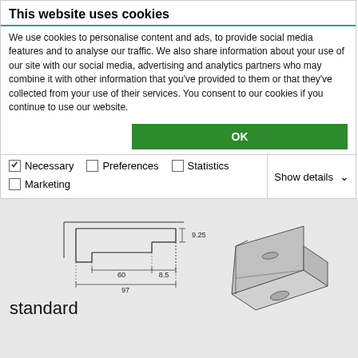This website uses cookies
We use cookies to personalise content and ads, to provide social media features and to analyse our traffic. We also share information about your use of our site with our social media, advertising and analytics partners who may combine it with other information that you’ve provided to them or that they’ve collected from your use of their services. You consent to our cookies if you continue to use our website.
OK
Necessary  Preferences  Statistics  Show details  Marketing
[Figure (engineering-diagram): Technical drawing of a metal bracket/clip component with dimensions: 60, 8.5, 9.25, 97, and an isometric 3D view of the same bracket component on the right side.]
standard